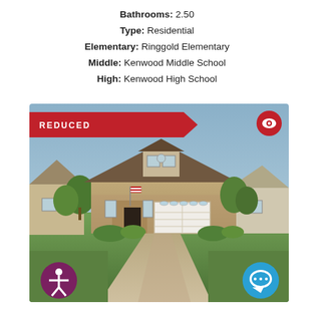Bathrooms: 2.50
Type: Residential
Elementary: Ringgold Elementary
Middle: Kenwood Middle School
High: Kenwood High School
[Figure (photo): Exterior photo of a residential home with brick facade, two-car garage, dormer window, landscaped front yard, green lawn, and concrete driveway. A 'REDUCED' banner appears in the top left corner of the photo. An eye icon appears in the top right. An accessibility icon button appears in the bottom left and a chat icon button in the bottom right.]